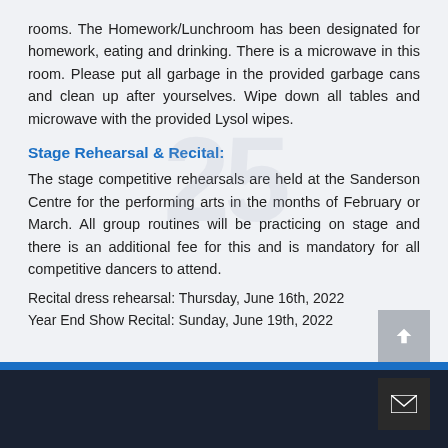rooms. The Homework/Lunchroom has been designated for homework, eating and drinking. There is a microwave in this room. Please put all garbage in the provided garbage cans and clean up after yourselves. Wipe down all tables and microwave with the provided Lysol wipes.
Stage Rehearsal & Recital:
The stage competitive rehearsals are held at the Sanderson Centre for the performing arts in the months of February or March. All group routines will be practicing on stage and there is an additional fee for this and is mandatory for all competitive dancers to attend.
Recital dress rehearsal: Thursday, June 16th, 2022
Year End Show Recital: Sunday, June 19th, 2022